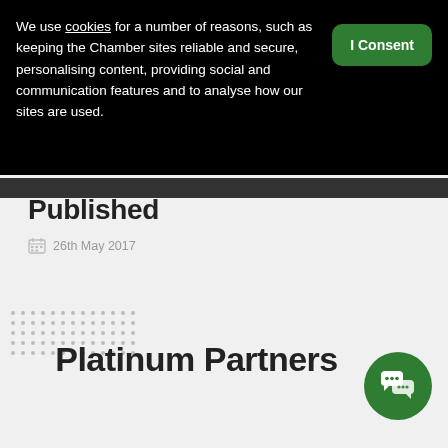We use cookies for a number of reasons, such as keeping the Chamber sites reliable and secure, personalising content, providing social and communication features and to analyse how our sites are used.
I Consent
Published
26th May 2017
Platinum Partners